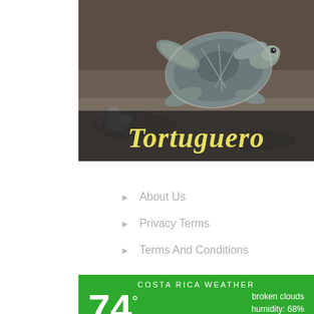[Figure (photo): A sea turtle hatchling on dark sand beach, with the text 'Tortuguero' in bold italic yellow-gold lettering on a dark semi-transparent banner below the turtle photo.]
About Us
Privacy Terms
Terms And Conditions
COSTA RICA WEATHER
74° broken clouds humidity: 68% wind: 5mph E H 80 • L 77